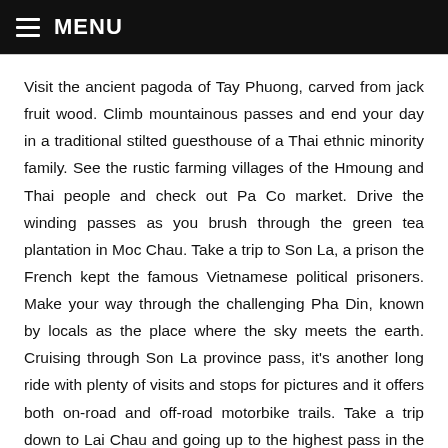MENU
Visit the ancient pagoda of Tay Phuong, carved from jack fruit wood. Climb mountainous passes and end your day in a traditional stilted guesthouse of a Thai ethnic minority family. See the rustic farming villages of the Hmoung and Thai people and check out Pa Co market. Drive the winding passes as you brush through the green tea plantation in Moc Chau. Take a trip to Son La, a prison the French kept the famous Vietnamese political prisoners. Make your way through the challenging Pha Din, known by locals as the place where the sky meets the earth. Cruising through Son La province pass, it's another long ride with plenty of visits and stops for pictures and it offers both on-road and off-road motorbike trails. Take a trip down to Lai Chau and going up to the highest pass in the Northern region to get the best view of the Tram Ton – O Qui Ho pass – one of 4 longest and most beautiful passes in North Vietnam. Arrive in Sapa and choose either a hotel in town or do home stay with the Zay people in Ta Van village. Spend your last day on a light trek in Sa Pa.